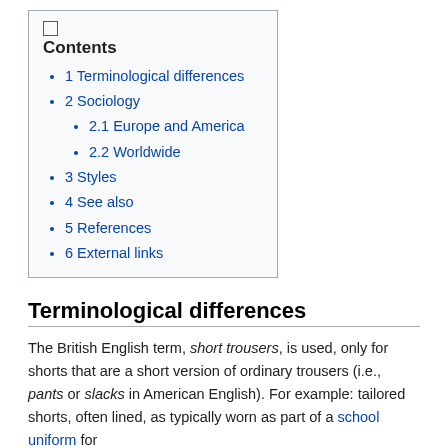Contents
1 Terminological differences
2 Sociology
2.1 Europe and America
2.2 Worldwide
3 Styles
4 See also
5 References
6 External links
Terminological differences
The British English term, short trousers, is used, only for shorts that are a short version of ordinary trousers (i.e., pants or slacks in American English). For example: tailored shorts, often lined, as typically worn as part of a school uniform for